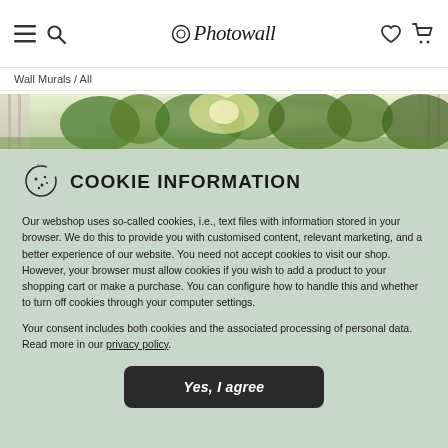Photowall — navigation bar with hamburger menu, search, logo, heart icon, and cart icon
Wall Murals / All
[Figure (photo): Banner photo of a forest with bright sunlight shining through green trees]
COOKIE INFORMATION
Our webshop uses so-called cookies, i.e., text files with information stored in your browser. We do this to provide you with customised content, relevant marketing, and a better experience of our website. You need not accept cookies to visit our shop. However, your browser must allow cookies if you wish to add a product to your shopping cart or make a purchase. You can configure how to handle this and whether to turn off cookies through your computer settings.
Your consent includes both cookies and the associated processing of personal data. Read more in our privacy policy.
Yes, I agree